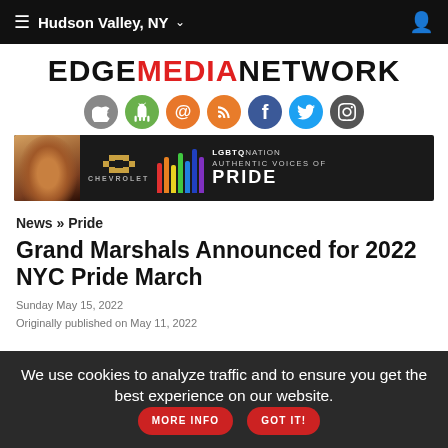≡ Hudson Valley, NY ∨
EDGEMEDIANETWORK
[Figure (infographic): Row of 7 social media icon circles: Apple, Android, Email, RSS, Facebook, Twitter, Instagram]
[Figure (infographic): Chevrolet advertisement banner: LGBTQ Nation - Authentic Voices of Pride, dark background with drag queen photo]
News » Pride
Grand Marshals Announced for 2022 NYC Pride March
Sunday May 15, 2022
Originally published on May 11, 2022
We use cookies to analyze traffic and to ensure you get the best experience on our website. MORE INFO GOT IT!